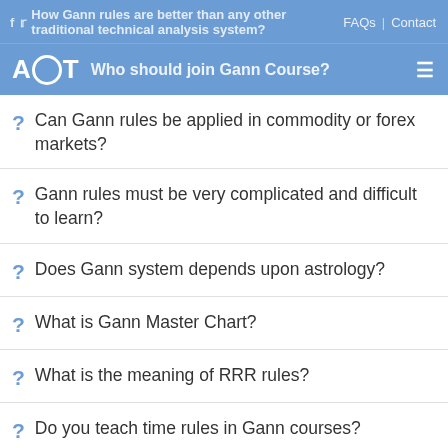How Gann rules are better than any other traditional technical analysis system? FAQs | Contact
AOT — Who should join Gann Course?
? Can Gann rules be applied in commodity or forex markets?
? Gann rules must be very complicated and difficult to learn?
? Does Gann system depends upon astrology?
? What is Gann Master Chart?
? What is the meaning of RRR rules?
? Do you teach time rules in Gann courses?
? Are 3 days more than enough to learn the rules?